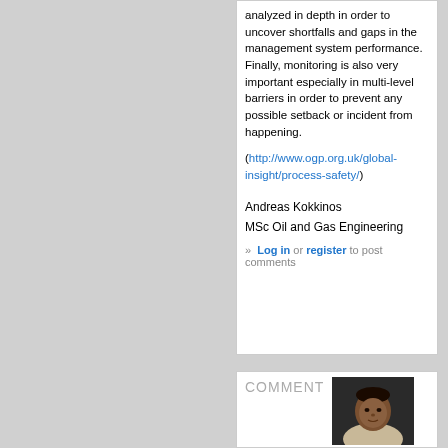analyzed in depth in order to uncover shortfalls and gaps in the management system performance. Finally, monitoring is also very important especially in multi-level barriers in order to prevent any possible setback or incident from happening.
(http://www.ogp.org.uk/global-insight/process-safety/)
Andreas Kokkinos
MSc Oil and Gas Engineering
» Log in or register to post comments
COMMENT
[Figure (photo): Portrait photo of a person in a grey/beige jacket against a dark background]
ONE:SAFETY AND RISK MANAGEMENT IN